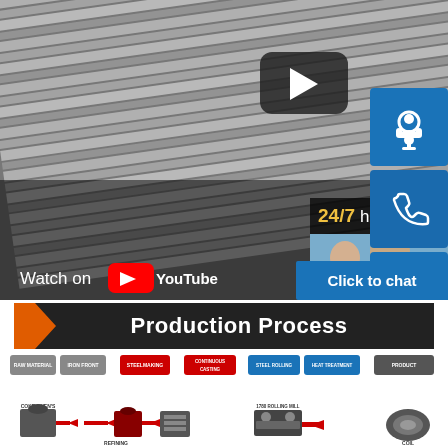[Figure (screenshot): Steel sheet metal stacked, shown as a YouTube video thumbnail with play button overlay. Text 'Watch on YouTube' at bottom left.]
24/7 hour
[Figure (photo): Customer service representatives wearing headsets, smiling]
[Figure (infographic): Three blue icon buttons on right side: headset/support icon, phone icon, Skype icon. Below: 'Click to chat' button.]
Click to chat
[Figure (infographic): Production Process banner with orange and dark background, followed by a process flow diagram showing: RAW MATERIAL, IRON FRONT, STEELMAKING, CONTINUOUS CASTING, STEEL ROLLING, HEAT TREATMENT, PRODUCT steps with icons including COKE OVEN'S, furnace, 1780 ROLLING MILL, COIL]
Production Process